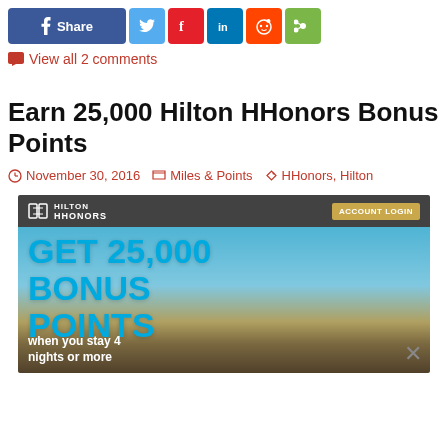[Figure (screenshot): Social share bar with Facebook Share, Twitter, Flipboard, LinkedIn, Reddit, and share icon buttons]
View all 2 comments
Earn 25,000 Hilton HHonors Bonus Points
November 30, 2016   Miles & Points   HHonors, Hilton
[Figure (screenshot): Hilton HHonors advertisement: GET 25,000 BONUS POINTS when you stay 4 nights or more, with Account Login button]